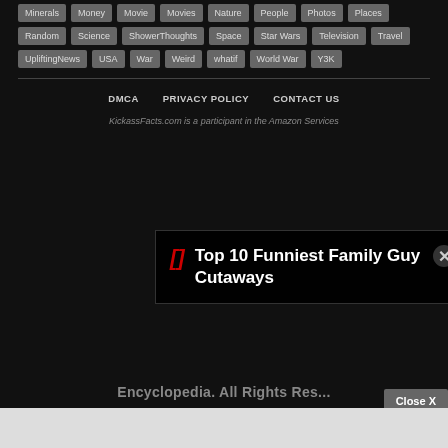Minerals Money Movie Movies Nature People Photos Places
Random Science ShowerThoughts Space Star Wars Television Travel
UpliftingNews USA War Weird whatif World War Y3K
DMCA   PRIVACY POLICY   CONTACT US
KickassFacts.com is a participant in the Amazon Services
Top 10 Funniest Family Guy Cutaways
Encyclopedia. All Rights Reserved.
Close X